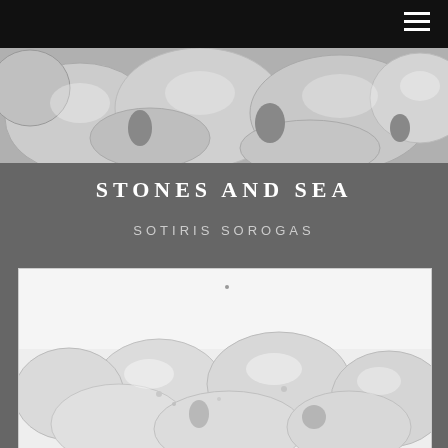[Figure (photo): Close-up greyscale photo of smooth rounded pebbles/stones arranged densely together]
STONES AND SEA
SOTIRIS SOROGAS
[Figure (photo): Greyscale photo of smooth rounded stones/pebbles clustered together on a light background, with a small dot/mark visible near the top center]